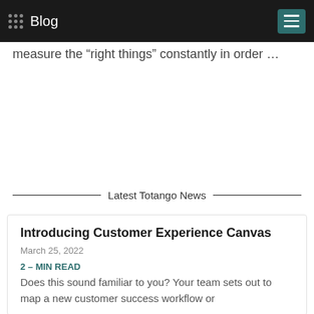Blog
measure the “right things” constantly in order …
Latest Totango News
Introducing Customer Experience Canvas
March 25, 2022
2 – MIN READ
Does this sound familiar to you? Your team sets out to map a new customer success workflow or